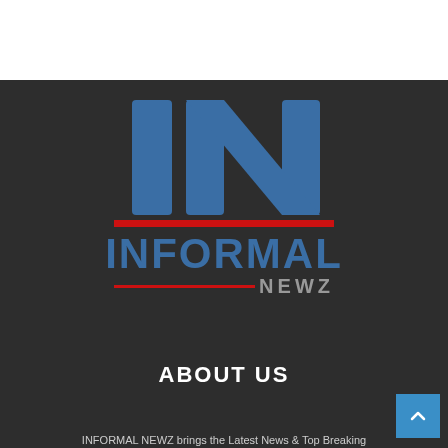[Figure (logo): Informal Newz logo: large blue 'IN' letters with diagonal crossbar, red horizontal bar, blue 'INFORMAL' text, gray 'NEWZ' text with red underline, on dark background]
ABOUT US
INFORMAL NEWZ brings the Latest News & Top Breaking